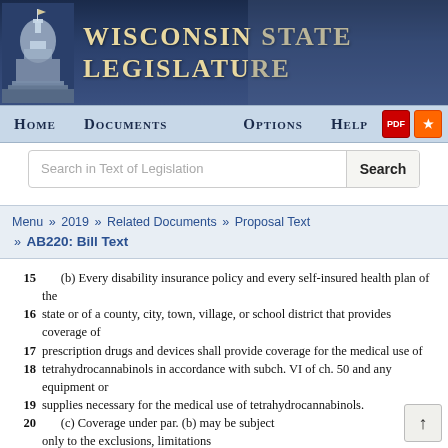Wisconsin State Legislature
Home  Documents  Options  Help
Search in Text of Legislation  Search
Menu » 2019 » Related Documents » Proposal Text » AB220: Bill Text
15   (b) Every disability insurance policy and every self-insured health plan of the
16 state or of a county, city, town, village, or school district that provides coverage of
17 prescription drugs and devices shall provide coverage for the medical use of
18 tetrahydrocannabinols in accordance with subch. VI of ch. 50 and any equipment or
19 supplies necessary for the medical use of tetrahydrocannabinols.
20   (c) Coverage under par. (b) may be subject only to the exclusions, limitations